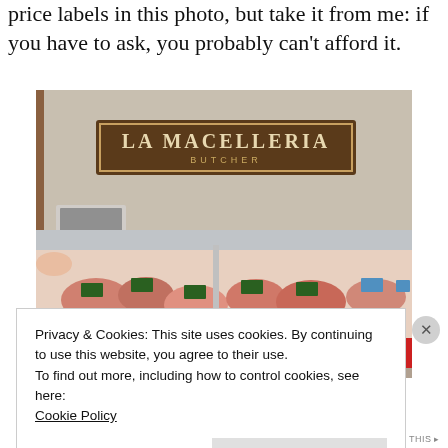price labels in this photo, but take it from me: if you have to ask, you probably can't afford it.
[Figure (photo): Interior photo of La Macelleria Butcher shop counter with cuts of meat displayed under glass, with red Eataly branded signage along the front of the case.]
Privacy & Cookies: This site uses cookies. By continuing to use this website, you agree to their use.
To find out more, including how to control cookies, see here:
Cookie Policy
Close and accept